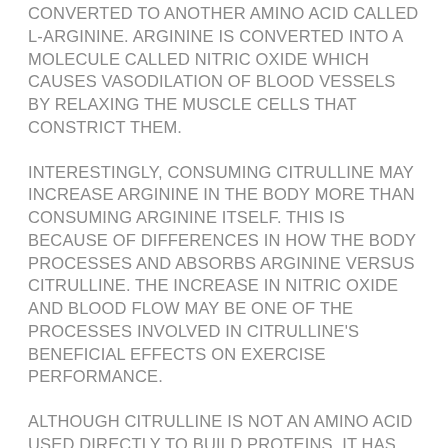CONVERTED TO ANOTHER AMINO ACID CALLED L-ARGININE. ARGININE IS CONVERTED INTO A MOLECULE CALLED NITRIC OXIDE WHICH CAUSES VASODILATION OF BLOOD VESSELS BY RELAXING THE MUSCLE CELLS THAT CONSTRICT THEM.
INTERESTINGLY, CONSUMING CITRULLINE MAY INCREASE ARGININE IN THE BODY MORE THAN CONSUMING ARGININE ITSELF. THIS IS BECAUSE OF DIFFERENCES IN HOW THE BODY PROCESSES AND ABSORBS ARGININE VERSUS CITRULLINE. THE INCREASE IN NITRIC OXIDE AND BLOOD FLOW MAY BE ONE OF THE PROCESSES INVOLVED IN CITRULLINE'S BENEFICIAL EFFECTS ON EXERCISE PERFORMANCE.
ALTHOUGH CITRULLINE IS NOT AN AMINO ACID USED DIRECTLY TO BUILD PROTEINS, IT HAS